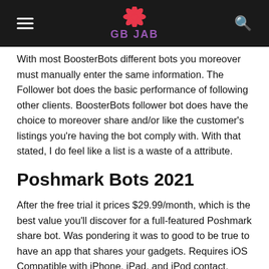GB JAB
With most BoosterBots different bots you moreover must manually enter the same information. The Follower bot does the basic performance of following other clients. BoosterBots follower bot does have the choice to moreover share and/or like the customer's listings you're having the bot comply with. With that stated, I do feel like a list is a waste of a attribute.
Poshmark Bots 2021
After the free trial it prices $29.99/month, which is the best value you'll discover for a full-featured Poshmark share bot. Was pondering it was to good to be true to have an app that shares your gadgets. Requires iOS Compatible with iPhone, iPad, and iPod contact.